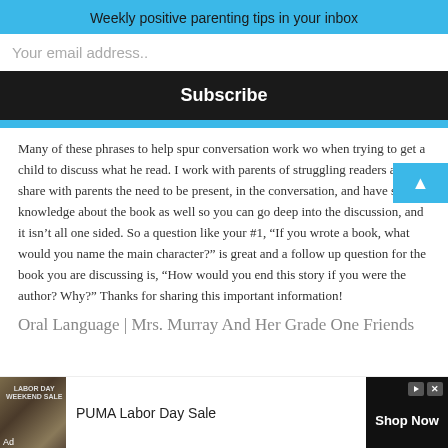Weekly positive parenting tips in your inbox
Your email address..
Subscribe
Many of these phrases to help spur conversation work wo... when trying to get a child to discuss what he read. I work with parents of struggling readers and I share with parents the need to be present, in the conversation, and have some knowledge about the book as well so you can go deep into the discussion, and it isn't all one sided. So a question like your #1, “If you wrote a book, what would you name the main character?” is great and a follow up question for the book you are discussing is, “How would you end this story if you were the author? Why?” Thanks for sharing this important information!
Oral Language | Mrs. Murray And Her Grade One Friends
[Figure (screenshot): Advertisement banner: PUMA Labor Day Sale with book-like image on left and Shop Now button on right]